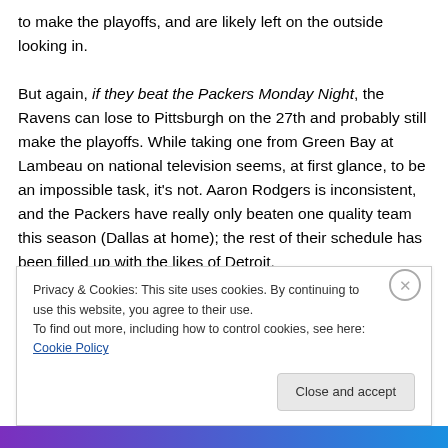to make the playoffs, and are likely left on the outside looking in.

But again, if they beat the Packers Monday Night, the Ravens can lose to Pittsburgh on the 27th and probably still make the playoffs. While taking one from Green Bay at Lambeau on national television seems, at first glance, to be an impossible task, it's not. Aaron Rodgers is inconsistent, and the Packers have really only beaten one quality team this season (Dallas at home); the rest of their schedule has been filled up with the likes of Detroit,
Privacy & Cookies: This site uses cookies. By continuing to use this website, you agree to their use.
To find out more, including how to control cookies, see here: Cookie Policy